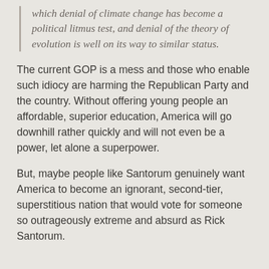which denial of climate change has become a political litmus test, and denial of the theory of evolution is well on its way to similar status.
The current GOP is a mess and those who enable such idiocy are harming the Republican Party and the country. Without offering young people an affordable, superior education, America will go downhill rather quickly and will not even be a power, let alone a superpower.
But, maybe people like Santorum genuinely want America to become an ignorant, second-tier, superstitious nation that would vote for someone so outrageously extreme and absurd as Rick Santorum.